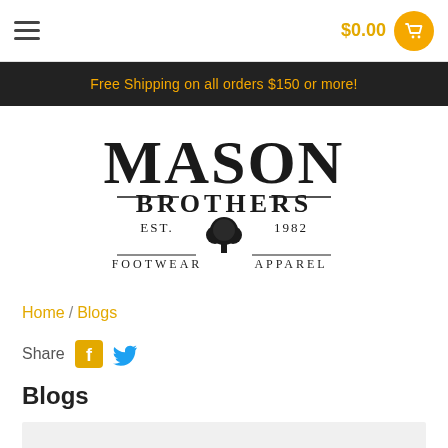$0.00
Free Shipping on all orders $150 or more!
[Figure (logo): Mason Brothers Est. 1982 Footwear Apparel logo with tree emblem]
Home / Blogs
Share
Blogs